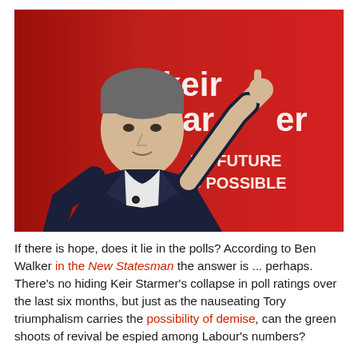[Figure (photo): Keir Starmer standing in front of a red Labour party banner reading 'Keir Starmer' and 'A BETTER FUTURE IS POSSIBLE', pointing upward with his right index finger, wearing a dark navy suit and white shirt with a lapel microphone.]
If there is hope, does it lie in the polls? According to Ben Walker in the New Statesman the answer is ... perhaps. There's no hiding Keir Starmer's collapse in poll ratings over the last six months, but just as the nauseating Tory triumphalism carries the possibility of demise, can the green shoots of revival be espied among Labour's numbers?
Sifting through recent polling by Redfield and Wilton, Ben